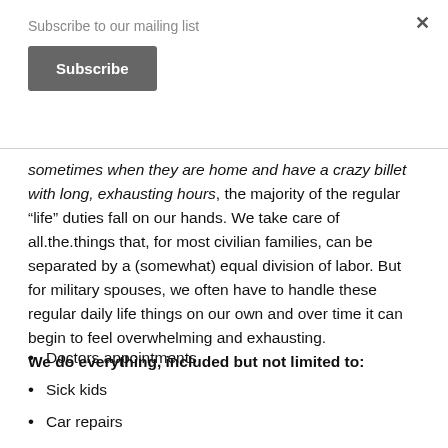Subscribe to our mailing list
Subscribe
sometimes when they are home and have a crazy billet with long, exhausting hours, the majority of the regular “life” duties fall on our hands. We take care of all.the.things that, for most civilian families, can be separated by a (somewhat) equal division of labor. But for military spouses, we often have to handle these regular daily life things on our own and over time it can begin to feel overwhelming and exhausting. We do everything, included but not limited to:
Doctors appointments
Sick kids
Car repairs